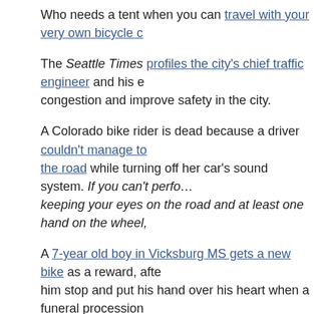Who needs a tent when you can travel with your very own bicycle c…
The Seattle Times profiles the city's chief traffic engineer and his e… congestion and improve safety in the city.
A Colorado bike rider is dead because a driver couldn't manage to… the road while turning off her car's sound system. If you can't perfo… keeping your eyes on the road and at least one hand on the wheel,…
A 7-year old boy in Vicksburg MS gets a new bike as a reward, afte… him stop and put his hand over his heart when a funeral procession…
Caught on video: Florida police are looking for a man on a bicycle … officer who tried to pull him over for not having a taillight.
A Florida man has been arrested for the hit-and-run that killed a wo… been rescued from Hurricane Irma weeks earlier, while she was rid… week.
International